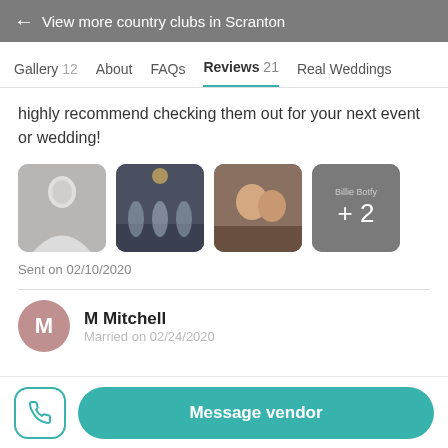← View more country clubs in Scranton
Gallery 12   About   FAQs   Reviews 21   Real Weddings
highly recommend checking them out for your next event or wedding!
[Figure (photo): Four wedding photo thumbnails; the fourth is a grey overlay showing '+2' additional photos]
Sent on 02/10/2020
M Mitchell
Message vendor